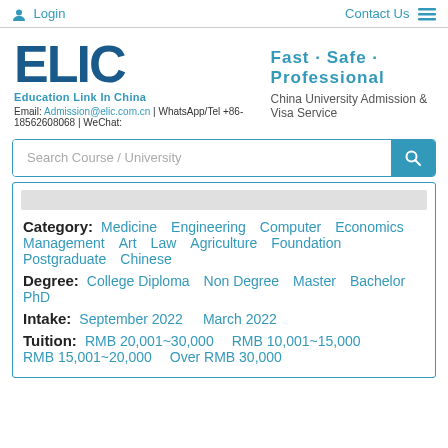Login | Contact Us
[Figure (logo): ELIC Education Link In China logo with tagline Fast · Safe · Professional and contact info]
Search Course / University
Category: Medicine Engineering Computer Economics Management Art Law Agriculture Foundation Postgraduate Chinese
Degree: College Diploma Non Degree Master Bachelor PhD
Intake: September 2022 March 2022
Tuition: RMB 20,001~30,000 RMB 10,001~15,000 RMB 15,001~20,000 Over RMB 30,000